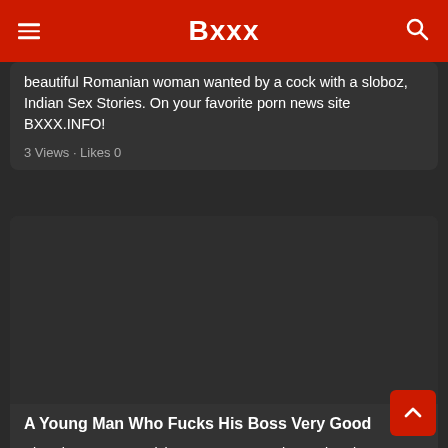Bxxx
beautiful Romanian woman wanted by a cock with a sloboz, Indian Sex Stories. On your favorite porn news site BXXX.INFO!
3 Views · Likes 0
[Figure (photo): Dark placeholder image for article thumbnail]
A Young Man Who Fucks His Boss Very Good
View the xxx porn article: A Young Man Who Fucks His Boss Very Good, Indian Sex Stories. On your favorite porn news site BXXX.INFO!
3 Views · Likes 0